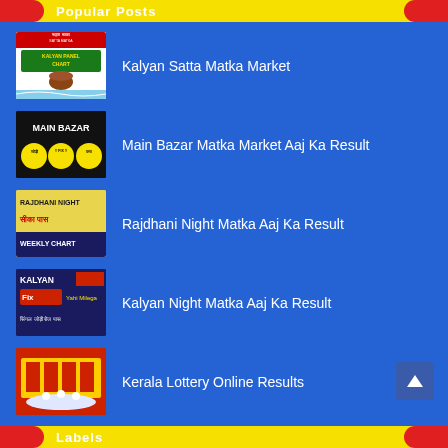Popular Posts
Kalyan Satta Matka Market
Main Bazar Matka Market Aaj Ka Result
Rajdhani Night Matka Aaj Ka Result
Kalyan Night Matka Aaj Ka Result
Kerala Lottery Online Results
Labels